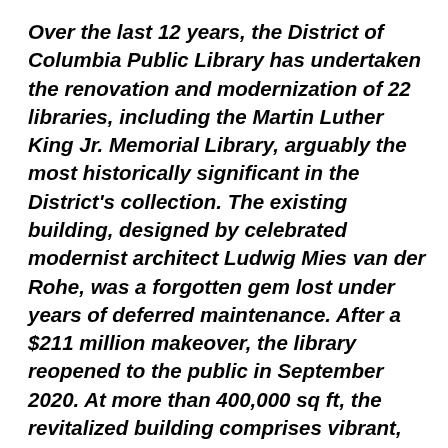Over the last 12 years, the District of Columbia Public Library has undertaken the renovation and modernization of 22 libraries, including the Martin Luther King Jr. Memorial Library, arguably the most historically significant in the District's collection. The existing building, designed by celebrated modernist architect Ludwig Mies van der Rohe, was a forgotten gem lost under years of deferred maintenance. After a $211 million makeover, the library reopened to the public in September 2020. At more than 400,000 sq ft, the revitalized building comprises vibrant, open multiuse spaces and a renovated rooftop that offers breathtaking city views. The design team